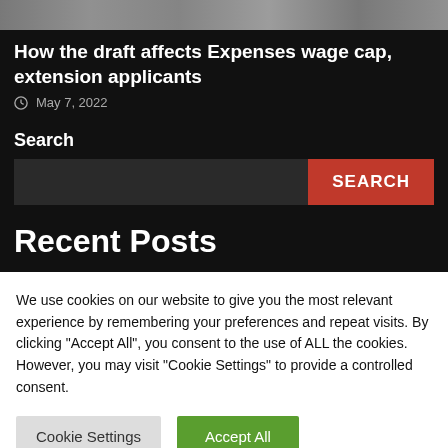[Figure (photo): Sports photo strip showing athletes at top of page]
How the draft affects Expenses wage cap, extension applicants
May 7, 2022
Search
Recent Posts
We use cookies on our website to give you the most relevant experience by remembering your preferences and repeat visits. By clicking “Accept All”, you consent to the use of ALL the cookies. However, you may visit "Cookie Settings" to provide a controlled consent.
Cookie Settings
Accept All